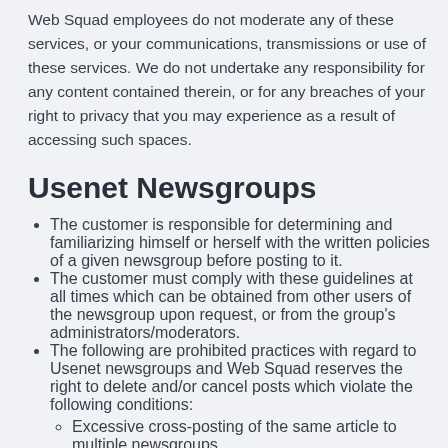Web Squad employees do not moderate any of these services, or your communications, transmissions or use of these services. We do not undertake any responsibility for any content contained therein, or for any breaches of your right to privacy that you may experience as a result of accessing such spaces.
Usenet Newsgroups
The customer is responsible for determining and familiarizing himself or herself with the written policies of a given newsgroup before posting to it.
The customer must comply with these guidelines at all times which can be obtained from other users of the newsgroup upon request, or from the group's administrators/moderators.
The following are prohibited practices with regard to Usenet newsgroups and Web Squad reserves the right to delete and/or cancel posts which violate the following conditions:
Excessive cross-posting of the same article to multiple newsgroups.